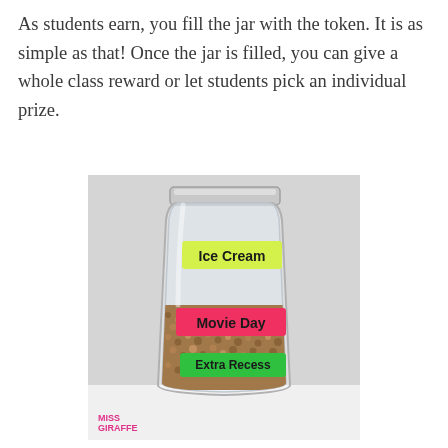As students earn, you fill the jar with the token. It is as simple as that! Once the jar is filled, you can give a whole class reward or let students pick an individual prize.
[Figure (photo): A clear glass jar partially filled with small brown tokens/seeds. Three colored label stickers are visible on the jar: a yellow-green label at the top reading 'Ice Cream', a pink/red label in the middle reading 'Movie Day', and a green label near the bottom reading 'Extra Recess'. The jar sits on a white surface against a light gray background. A 'MISS GIRAFFE' watermark appears in the bottom-left corner of the photo.]